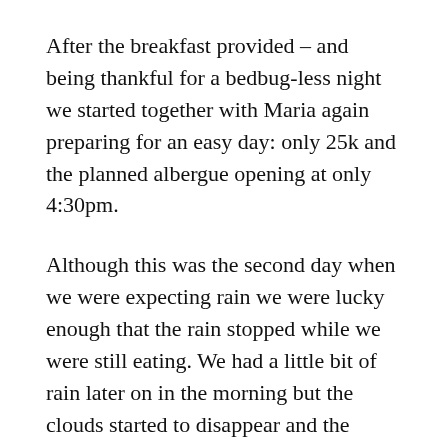After the breakfast provided – and being thankful for a bedbug-less night we started together with Maria again preparing for an easy day: only 25k and the planned albergue opening at only 4:30pm.
Although this was the second day when we were expecting rain we were lucky enough that the rain stopped while we were still eating. We had a little bit of rain later on in the morning but the clouds started to disappear and the weather turned nice.
We mainly walked in forest or next to fields on dirt roads with trees alongside. Some parts were actually quite wild with large flat rocks…